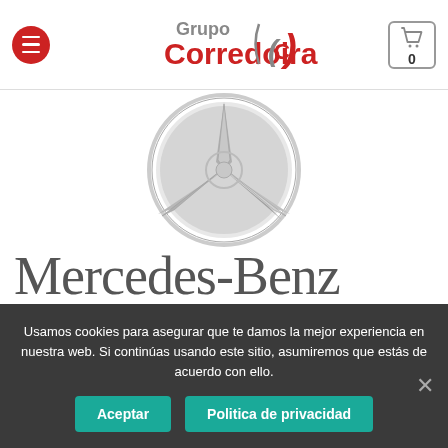[Figure (logo): Grupo Corredoira logo with red text and IC symbol]
[Figure (logo): Mercedes-Benz three-pointed star logo in silver/chrome]
Mercedes-Benz
Usamos cookies para asegurar que te damos la mejor experiencia en nuestra web. Si continúas usando este sitio, asumiremos que estás de acuerdo con ello.
Aceptar
Politica de privacidad